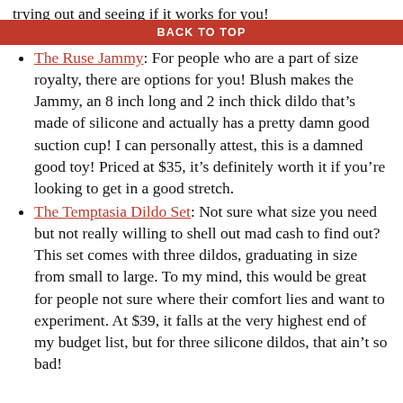trying out and seeing if it works for you!
BACK TO TOP
The Ruse Jammy: For people who are a part of size royalty, there are options for you! Blush makes the Jammy, an 8 inch long and 2 inch thick dildo that's made of silicone and actually has a pretty damn good suction cup! I can personally attest, this is a damned good toy! Priced at $35, it's definitely worth it if you're looking to get in a good stretch.
The Temptasia Dildo Set: Not sure what size you need but not really willing to shell out mad cash to find out? This set comes with three dildos, graduating in size from small to large. To my mind, this would be great for people not sure where their comfort lies and want to experiment. At $39, it falls at the very highest end of my budget list, but for three silicone dildos, that ain't so bad!